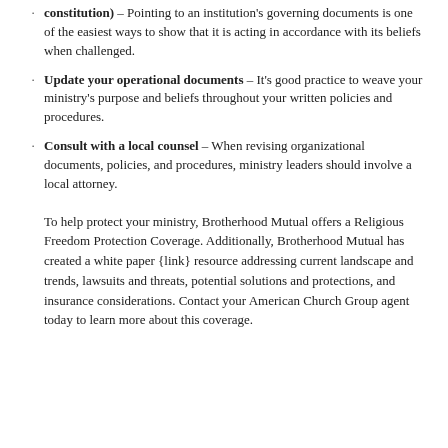constitution) – Pointing to an institution's governing documents is one of the easiest ways to show that it is acting in accordance with its beliefs when challenged.
Update your operational documents – It's good practice to weave your ministry's purpose and beliefs throughout your written policies and procedures.
Consult with a local counsel – When revising organizational documents, policies, and procedures, ministry leaders should involve a local attorney.
To help protect your ministry, Brotherhood Mutual offers a Religious Freedom Protection Coverage. Additionally, Brotherhood Mutual has created a white paper {link} resource addressing current landscape and trends, lawsuits and threats, potential solutions and protections, and insurance considerations. Contact your American Church Group agent today to learn more about this coverage.